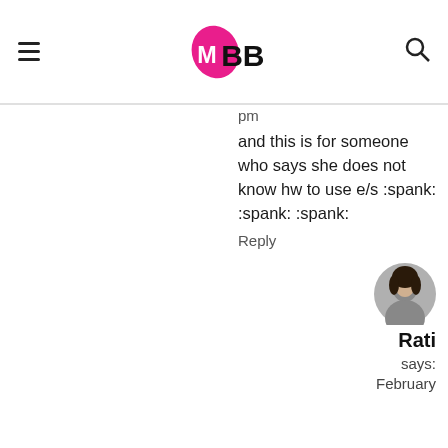IMBB - Indian Makeup and Beauty Blog
pm
and this is for someone who says she does not know hw to use e/s :spank: :spank: :spank:
Reply
[Figure (photo): Avatar photo of commenter Rati]
Rati says: February